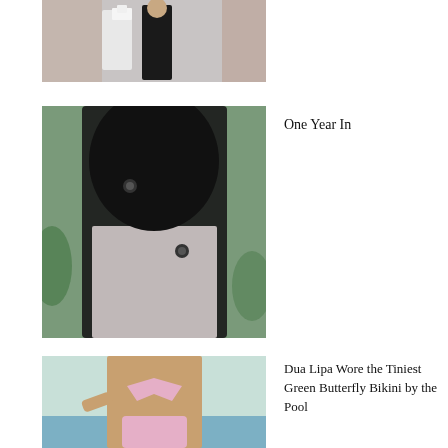[Figure (photo): Partial view of a person in a suit near a wedding cake, cropped at top]
[Figure (photo): Person wearing a black headscarf/hood, back view with grey hair]
One Year In
[Figure (photo): Woman in a green butterfly bikini by a pool - Dua Lipa]
Dua Lipa Wore the Tiniest Green Butterfly Bikini by the Pool
[Figure (photo): Lady Di book cover with yellow background and illustrated portrait]
Her Revenge Dress and Biker Shorts Are Iconic, But Diana's Final Looks Show Us Who She Really Was